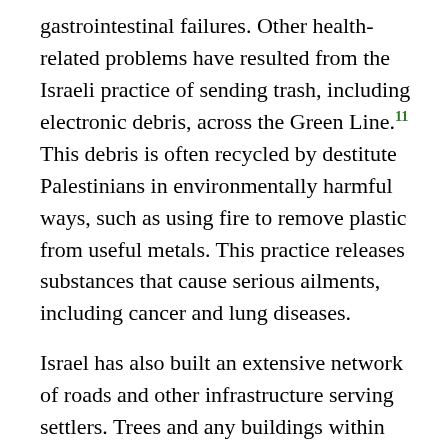gastrointestinal failures. Other health-related problems have resulted from the Israeli practice of sending trash, including electronic debris, across the Green Line.[11] This debris is often recycled by destitute Palestinians in environmentally harmful ways, such as using fire to remove plastic from useful metals. This practice releases substances that cause serious ailments, including cancer and lung diseases.
Israel has also built an extensive network of roads and other infrastructure serving settlers. Trees and any buildings within seventy-five meters of these roads are bulldozed and declared closed military zones to the Palestinians. The total area used in the West Bank for settler roads was 51.2 km2 in 2000 and has doubled since. Added to the 150.5 km2 of built settlement-colonies, this is a huge area that was previously used by Palestinians for agriculture, pasture, or leisure.[12] The disparity between settlers and natives in land control and standard of living is compounded by disparity in access to other natural resources, especially water.[13] Israeli officials have deliberately ignored facts and selectively presented falsified or inaccurate